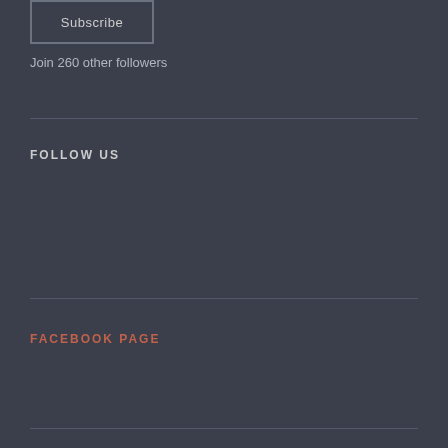[Figure (other): Subscribe button with border]
Join 260 other followers
FOLLOW US
FACEBOOK PAGE